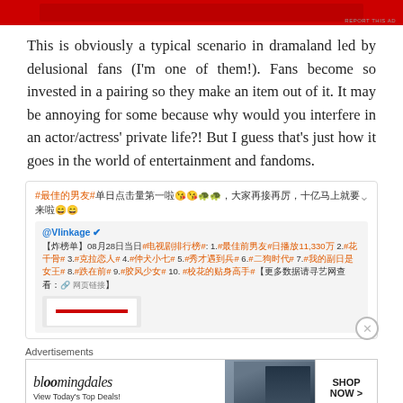[Figure (other): Red advertisement banner at top of page]
This is obviously a typical scenario in dramaland led by delusional fans (I'm one of them!). Fans become so invested in a pairing so they make an item out of it. It may be annoying for some because why would you interfere in an actor/actress' private life?! But I guess that's just how it goes in the world of entertainment and fandoms.
[Figure (screenshot): Social media post screenshot in Chinese showing hashtag trending data. @VIinkage V account post about TV drama rankings on 08/28, listing #最佳前男友# at top with 11,330万 daily plays, followed by other drama rankings.]
Advertisements
[Figure (other): Bloomingdale's advertisement banner showing 'bloomingdales', 'View Today's Top Deals!' text, woman in wide-brim hat, and 'SHOP NOW >' button]